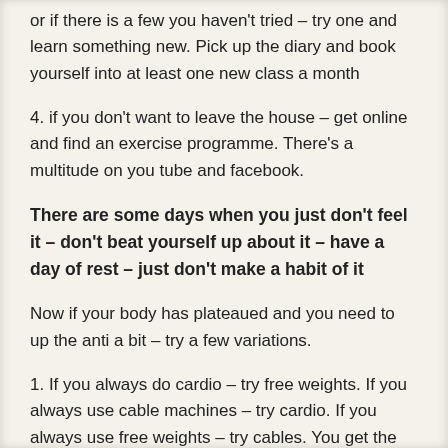or if there is a few you haven't tried – try one and learn something new. Pick up the diary and book yourself into at least one new class a month
4. if you don't want to leave the house – get online and find an exercise programme. There's a multitude on you tube and facebook.
There are some days when you just don't feel it – don't beat yourself up about it – have a day of rest – just don't make a habit of it
Now if your body has plateaued and you need to up the anti a bit – try a few variations.
1. If you always do cardio – try free weights. If you always use cable machines – try cardio. If you always use free weights – try cables. You get the gist – challenge the muscles to something